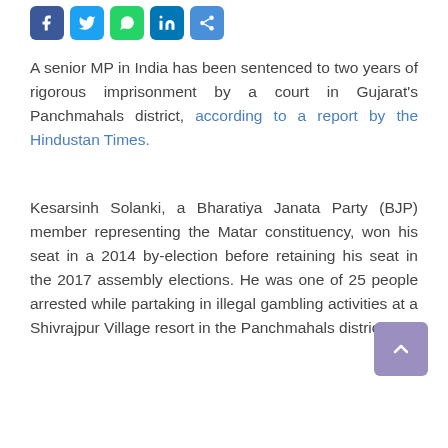[Figure (other): Social media share icons: Facebook, Twitter, WhatsApp, LinkedIn, and a share button]
A senior MP in India has been sentenced to two years of rigorous imprisonment by a court in Gujarat's Panchmahals district, according to a report by the Hindustan Times.
Kesarsinh Solanki, a Bharatiya Janata Party (BJP) member representing the Matar constituency, won his seat in a 2014 by-election before retaining his seat in the 2017 assembly elections. He was one of 25 people arrested while partaking in illegal gambling activities at a Shivrajpur Village resort in the Panchmahals district.